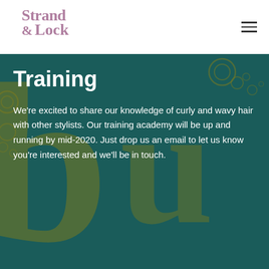[Figure (logo): Strand & Lock logo in purple/mauve serif lettering]
Training
We're excited to share our knowledge of curly and wavy hair with other stylists. Our training academy will be up and running by mid-2020. Just drop us an email to let us know you're interested and we'll be in touch.